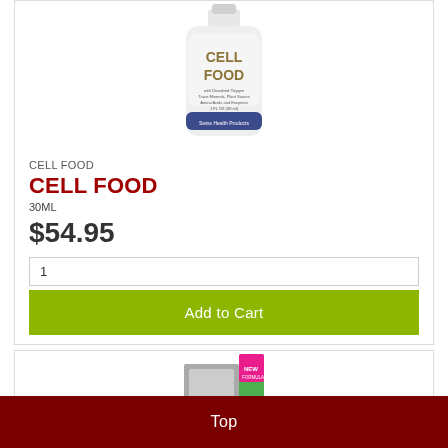[Figure (photo): Product photo of CELL FOOD supplement bottle, white bottle with gold and blue label text, showing dissolved oxygen, trace minerals, plant source, amino acids and enzymes, 1 fl oz (30ml), Swiss Health Products]
CELL FOOD
CELL FOOD
30ML
$54.95
1
Add to Cart
[Figure (photo): Partial view of product packaging at bottom of second card - appears to show two product boxes, one gray/black and one green/pink with NEW FORMULA text]
Top